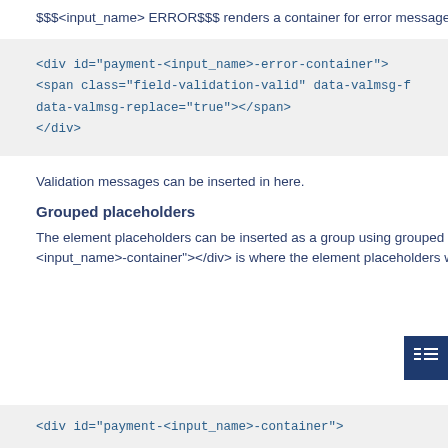$$$<input_name> ERROR$$$ renders a container for error messages
[Figure (screenshot): Code block showing HTML: <div id="payment-<input_name>-error-container"> <span class="field-validation-valid" data-valmsg-f... data-valmsg-replace="true"></span> </div>]
Validation messages can be inserted in here.
Grouped placeholders
The element placeholders can be inserted as a group using grouped p... <input_name>-container"></div> is where the element placeholders w...
[Figure (screenshot): Code block showing HTML: <div id="payment-<input_name>-container">]